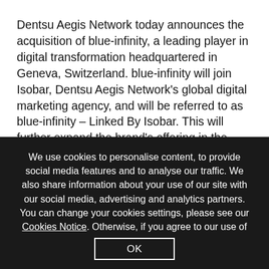Dentsu Aegis Network today announces the acquisition of blue-infinity, a leading player in digital transformation headquartered in Geneva, Switzerland. blue-infinity will join Isobar, Dentsu Aegis Network's global digital marketing agency, and will be referred to as blue-infinity – Linked By Isobar. This will further expand the brand's offering in the market. The move will also strengthen the
We use cookies to personalise content, to provide social media features and to analyse our traffic. We also share information about your use of our site with our social media, advertising and analytics partners. You can change your cookies settings, please see our Cookies Notice. Otherwise, if you agree to our use of cookies, please continue to use our website.
OK